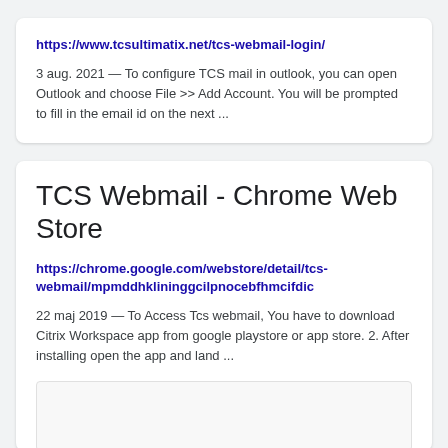https://www.tcsultimatix.net/tcs-webmail-login/
3 aug. 2021 — To configure TCS mail in outlook, you can open Outlook and choose File >> Add Account. You will be prompted to fill in the email id on the next ...
TCS Webmail - Chrome Web Store
https://chrome.google.com/webstore/detail/tcs-webmail/mpmddhklininggcilpnocebfhmcifdic
22 maj 2019 — To Access Tcs webmail, You have to download Citrix Workspace app from google playstore or app store. 2. After installing open the app and land ...
[Figure (other): Empty white image placeholder at the bottom of the second search result card]